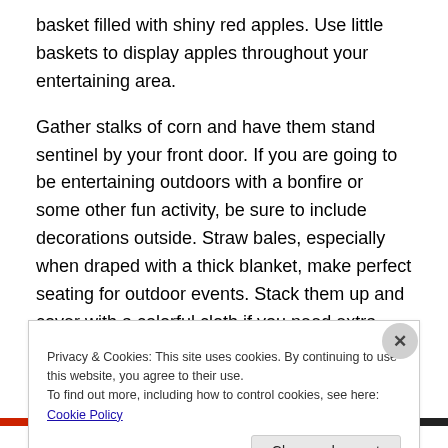basket filled with shiny red apples. Use little baskets to display apples throughout your entertaining area.
Gather stalks of corn and have them stand sentinel by your front door. If you are going to be entertaining outdoors with a bonfire or some other fun activity, be sure to include decorations outside. Straw bales, especially when draped with a thick blanket, make perfect seating for outdoor events. Stack them up and cover with a colorful cloth if you need extra serving space.
Sprinkle fall leaves along your buffet table. You can even
Privacy & Cookies: This site uses cookies. By continuing to use this website, you agree to their use.
To find out more, including how to control cookies, see here: Cookie Policy